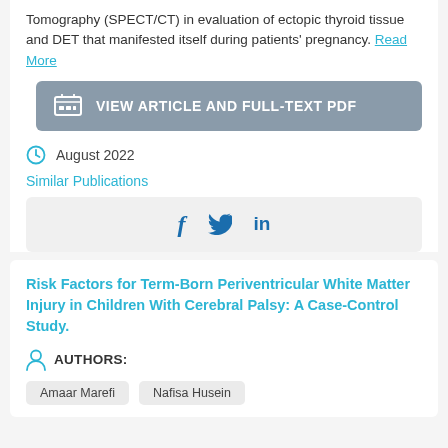Tomography (SPECT/CT) in evaluation of ectopic thyroid tissue and DET that manifested itself during patients' pregnancy. Read More
VIEW ARTICLE AND FULL-TEXT PDF
August 2022
Similar Publications
[Figure (infographic): Social media sharing icons: Facebook (f), Twitter (bird), LinkedIn (in)]
Risk Factors for Term-Born Periventricular White Matter Injury in Children With Cerebral Palsy: A Case-Control Study.
AUTHORS:
Amaar Marefi
Nafisa Husein